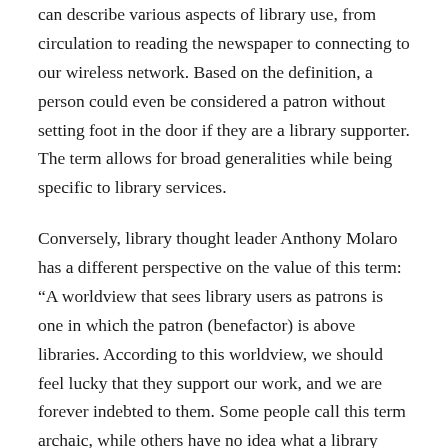can describe various aspects of library use, from circulation to reading the newspaper to connecting to our wireless network. Based on the definition, a person could even be considered a patron without setting foot in the door if they are a library supporter. The term allows for broad generalities while being specific to library services.
Conversely, library thought leader Anthony Molaro has a different perspective on the value of this term: “A worldview that sees library users as patrons is one in which the patron (benefactor) is above libraries. According to this worldview, we should feel lucky that they support our work, and we are forever indebted to them. Some people call this term archaic, while others have no idea what a library patron even is. In the end, the perception is that the patron is above us.”⁴
According to Valerie Gross, president and CEO of the Howard